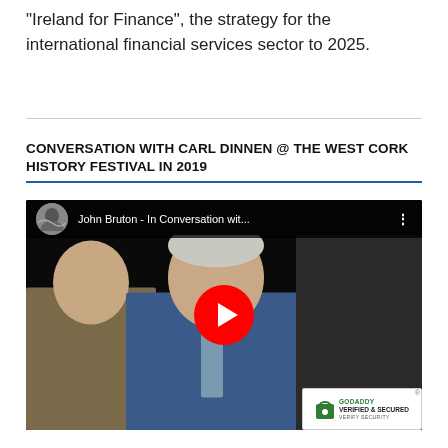“Ireland for Finance”, the strategy for the international financial services sector to 2025.
CONVERSATION WITH CARL DINNEN @ THE WEST CORK HISTORY FESTIVAL IN 2019
[Figure (screenshot): YouTube video thumbnail showing John Bruton - In Conversation wit... with a man in a blue suit visible, YouTube play button overlay, and YouTube top bar with channel avatar and video title.]